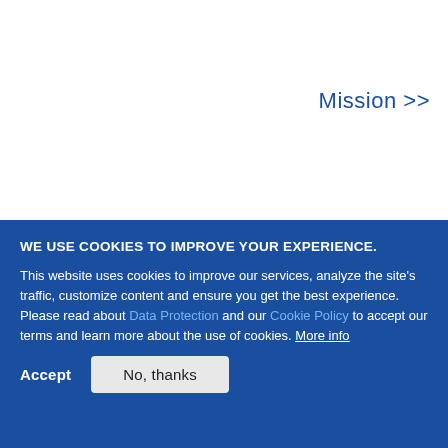Mission >>
WE USE COOKIES TO IMPROVE YOUR EXPERIENCE.
This website uses cookies to improve our services, analyze the site's traffic, customize content and ensure you get the best experience. Please read about Data Protection and our Cookie Policy to accept our terms and learn more about the use of cookies. More info
Accept
No, thanks